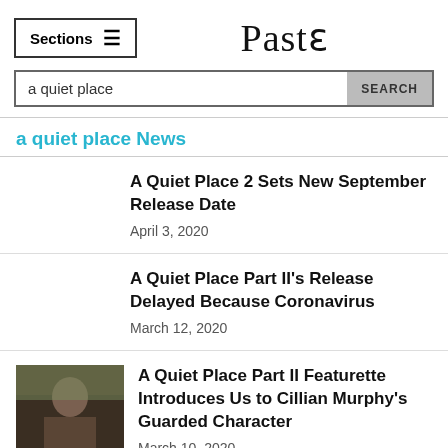Sections  Paste
a quiet place  SEARCH
a quiet place News
A Quiet Place 2 Sets New September Release Date
April 3, 2020
A Quiet Place Part II's Release Delayed Because Coronavirus
March 12, 2020
[Figure (photo): Thumbnail image of a person outdoors for A Quiet Place Part II article]
A Quiet Place Part II Featurette Introduces Us to Cillian Murphy's Guarded Character
March 10, 2020